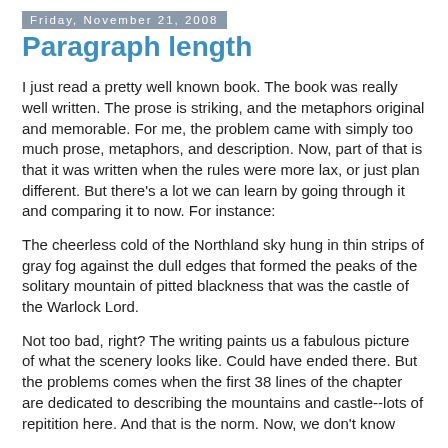Friday, November 21, 2008
Paragraph length
I just read a pretty well known book. The book was really well written. The prose is striking, and the metaphors original and memorable. For me, the problem came with simply too much prose, metaphors, and description. Now, part of that is that it was written when the rules were more lax, or just plan different. But there's a lot we can learn by going through it and comparing it to now. For instance:
The cheerless cold of the Northland sky hung in thin strips of gray fog against the dull edges that formed the peaks of the solitary mountain of pitted blackness that was the castle of the Warlock Lord.
Not too bad, right? The writing paints us a fabulous picture of what the scenery looks like. Could have ended there. But the problems comes when the first 38 lines of the chapter are dedicated to describing the mountains and castle--lots of repitition here. And that is the norm. Now, we don't know